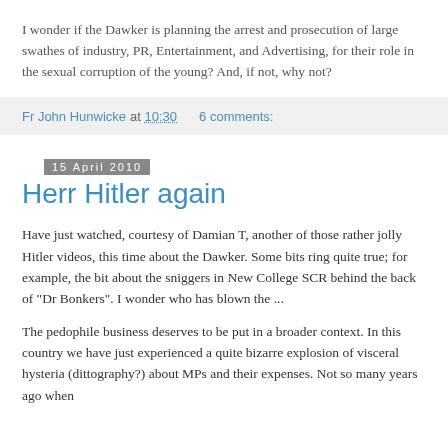I wonder if the Dawker is planning the arrest and prosecution of large swathes of industry, PR, Entertainment, and Advertising, for their role in the sexual corruption of the young? And, if not, why not?
Fr John Hunwicke at 10:30    6 comments:
15 April 2010
Herr Hitler again
Have just watched, courtesy of Damian T, another of those rather jolly Hitler videos, this time about the Dawker. Some bits ring quite true; for example, the bit about the sniggers in New College SCR behind the back of "Dr Bonkers". I wonder who has blown the ...
The pedophile business deserves to be put in a broader context. In this country we have just experienced a quite bizarre explosion of visceral hysteria (dittography?) about MPs and their expenses. Not so many years ago when